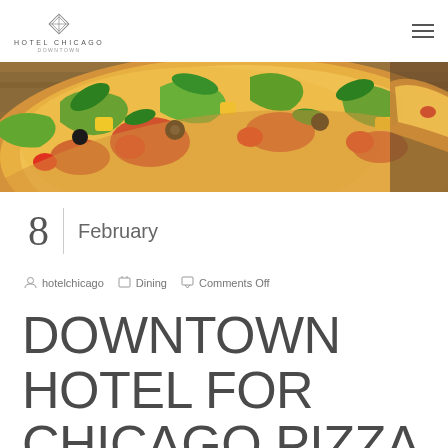HOTEL CHICAGO DOWNTOWN
[Figure (photo): Close-up photo of a colorful pizza topped with vegetables including green peppers, basil leaves, olives, tomatoes, and pineapple on a wooden surface]
8  February
hotelchicago  Dining  Comments Off
DOWNTOWN HOTEL FOR CHICAGO PIZZA PARTY